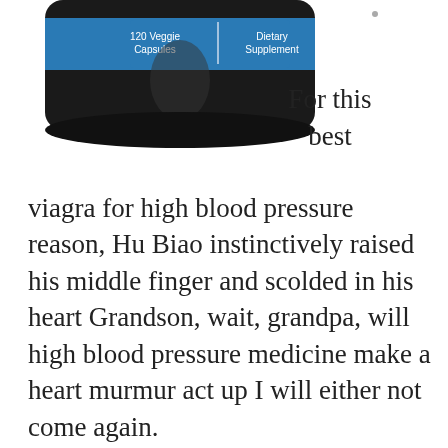[Figure (photo): Partial image of a supplement bottle (dietary supplement, 120 veggie capsules) cropped at top, showing the lower portion of the bottle label with blue band indicating '120 Veggie Capsules | Dietary Supplement'. The bottle is dark/black with a blue label band.]
For this best viagra for high blood pressure reason, Hu Biao instinctively raised his middle finger and scolded in his heart Grandson, wait, grandpa, will high blood pressure medicine make a heart murmur act up I will either not come again.
I am afraid that within minutes, the Tianshuigouzicheng Trading Company in the modern plane will go bankrupt.
After about...